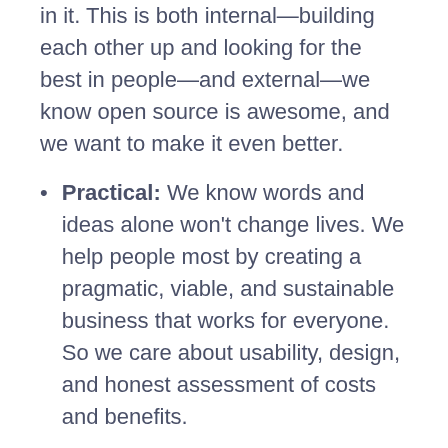in it. This is both internal—building each other up and looking for the best in people—and external—we know open source is awesome, and we want to make it even better.
Practical: We know words and ideas alone won't change lives. We help people most by creating a pragmatic, viable, and sustainable business that works for everyone. So we care about usability, design, and honest assessment of costs and benefits.
Inclusive: We believe technology will be stronger when it better reflects the voices and ideas of society as a whole. So we